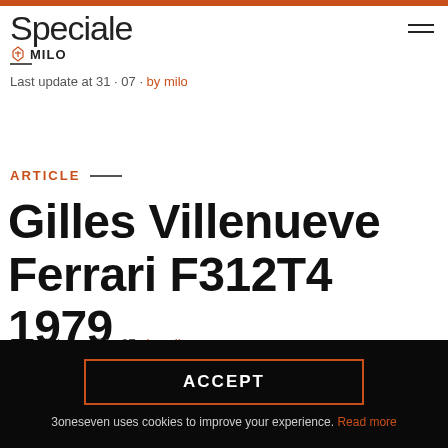Speciale MILO
Last update at 31 · 07 · by milo
ARTICLE —
Gilles Villenueve Ferrari F312T4 1979
Last update at 31 · 07 · by milo
ACCEPT
3oneseven uses cookies to improve your experience. Read more